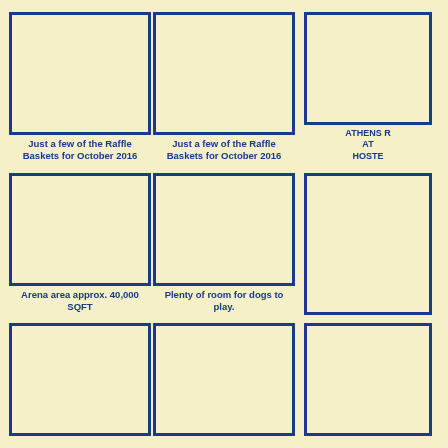[Figure (photo): Empty placeholder box for raffle basket photo 1]
Just a few of the Raffle Baskets for October 2016
[Figure (photo): Empty placeholder box for raffle basket photo 2]
Just a few of the Raffle Baskets for October 2016
[Figure (photo): Empty placeholder box (partially visible) - Athens related]
ATHENS R... AT... HOSTE...
[Figure (photo): Empty placeholder box for arena photo]
Arena area approx. 40,000 SQFT
[Figure (photo): Empty placeholder box for dogs play area]
Plenty of room for dogs to play.
[Figure (photo): Empty placeholder box (partially visible right column row 2)]
[Figure (photo): Empty placeholder box row 3 col 1 (partially visible)]
[Figure (photo): Empty placeholder box row 3 col 2 (partially visible)]
[Figure (photo): Empty placeholder box row 3 col 3 (partially visible)]